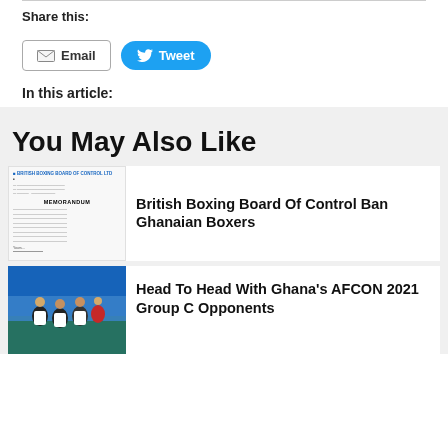Share this:
[Figure (other): Email button and Tweet button for sharing]
In this article:
You May Also Like
[Figure (screenshot): Thumbnail image of British Boxing Board of Control document (memorandum)]
British Boxing Board Of Control Ban Ghanaian Boxers
[Figure (photo): Photo of Ghana football players in national team jerseys]
Head To Head With Ghana's AFCON 2021 Group C Opponents